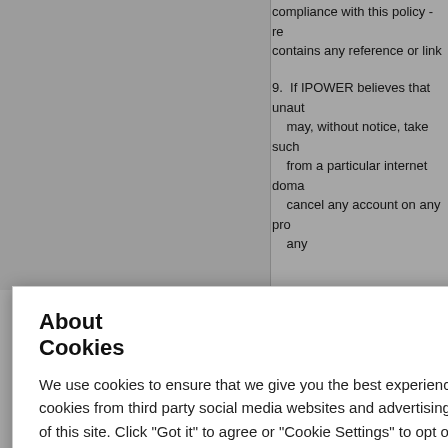compliance with this policy - re contains any reference or link
9. If IPOWER believes that unaut may, without notice, take such from a particular internet doma cancel any account on any pro any
About Cookies
We use cookies to ensure that we give you the best experience on our website. This includes cookies from third party social media websites and advertising cookies that may analyze your use of this site. Click "Got it" to agree or "Cookie Settings" to opt out.
Cookie Notice
Got It
Cookies Settings